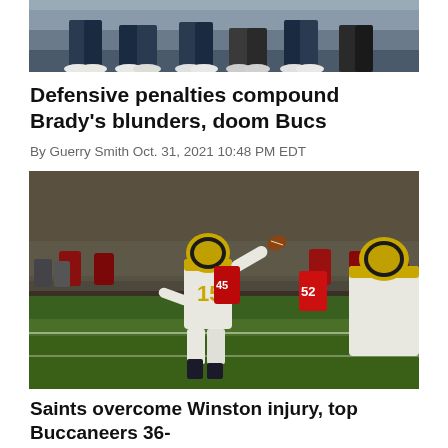[Figure (photo): Football game photo showing players' legs and feet at bottom of frame, cropped]
Defensive penalties compound Brady's blunders, doom Bucs
By Guerry Smith Oct. 31, 2021 10:48 PM EDT
[Figure (photo): New Orleans Saints quarterback number 15 throwing a pass during game against Tampa Bay Buccaneers, players in red jerseys visible in background]
Saints overcome Winston injury, top Buccaneers 36-